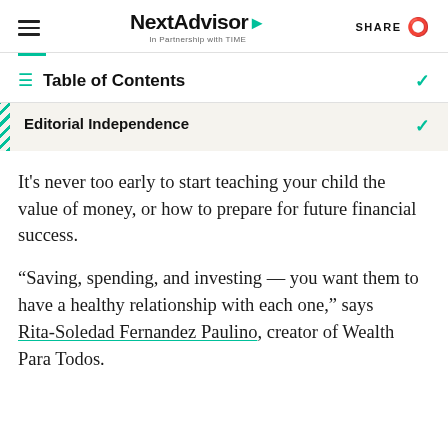NextAdvisor In Partnership with TIME | SHARE
Table of Contents
Editorial Independence
It’s never too early to start teaching your child the value of money, or how to prepare for future financial success.
“Saving, spending, and investing — you want them to have a healthy relationship with each one,” says Rita-Soledad Fernandez Paulino, creator of Wealth Para Todos.